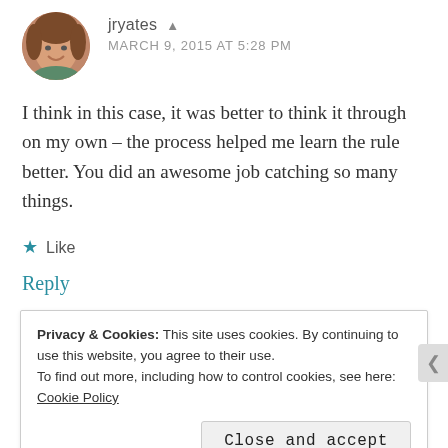[Figure (photo): Circular avatar photo of a woman smiling, with brown/auburn hair outdoors]
jryates ▲
MARCH 9, 2015 AT 5:28 PM
I think in this case, it was better to think it through on my own – the process helped me learn the rule better. You did an awesome job catching so many things.
★ Like
Reply
Privacy & Cookies: This site uses cookies. By continuing to use this website, you agree to their use.
To find out more, including how to control cookies, see here: Cookie Policy
Close and accept